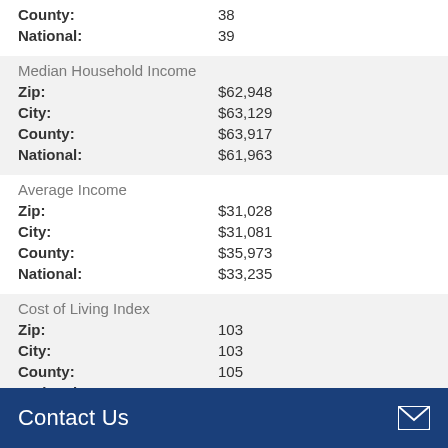|  |  |
| --- | --- |
| County: | 38 |
| National: | 39 |
| Median Household Income |  |
| --- | --- |
| Zip: | $62,948 |
| City: | $63,129 |
| County: | $63,917 |
| National: | $61,963 |
| Average Income |  |
| --- | --- |
| Zip: | $31,028 |
| City: | $31,081 |
| County: | $35,973 |
| National: | $33,235 |
| Cost of Living Index |  |
| --- | --- |
| Zip: | 103 |
| City: | 103 |
| County: | 105 |
| National: | 100 |
Contact Us